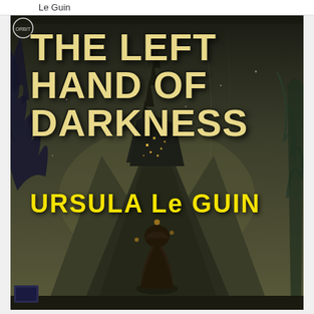Le Guin
[Figure (illustration): Book cover of 'The Left Hand of Darkness' by Ursula Le Guin. Orbit paperback edition. Dark fantasy/sci-fi illustration showing a cloaked figure standing before a massive dark mountain with a glowing spired castle/city atop it, surrounded by alien-looking trees and a moody sky. The title text is large cream/yellow colored, and the author name is in bright yellow.]
THE LEFT HAND OF DARKNESS
URSULA Le GUIN